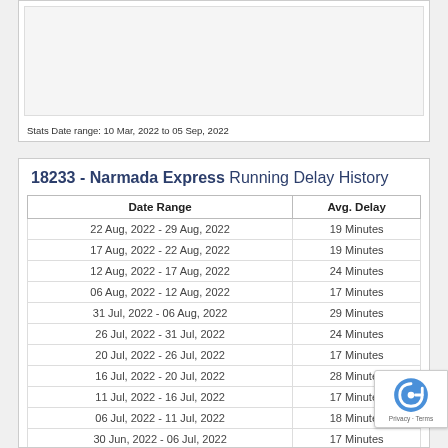Stats Date range: 10 Mar, 2022 to 05 Sep, 2022
18233 - Narmada Express Running Delay History
| Date Range | Avg. Delay |
| --- | --- |
| 22 Aug, 2022 - 29 Aug, 2022 | 19 Minutes |
| 17 Aug, 2022 - 22 Aug, 2022 | 19 Minutes |
| 12 Aug, 2022 - 17 Aug, 2022 | 24 Minutes |
| 06 Aug, 2022 - 12 Aug, 2022 | 17 Minutes |
| 31 Jul, 2022 - 06 Aug, 2022 | 29 Minutes |
| 26 Jul, 2022 - 31 Jul, 2022 | 24 Minutes |
| 20 Jul, 2022 - 26 Jul, 2022 | 17 Minutes |
| 16 Jul, 2022 - 20 Jul, 2022 | 28 Minutes |
| 11 Jul, 2022 - 16 Jul, 2022 | 17 Minutes |
| 06 Jul, 2022 - 11 Jul, 2022 | 18 Minutes |
| 30 Jun, 2022 - 06 Jul, 2022 | 17 Minutes |
| 24 Jun, 2022 - 30 Jun, 2022 | 22 Minutes |